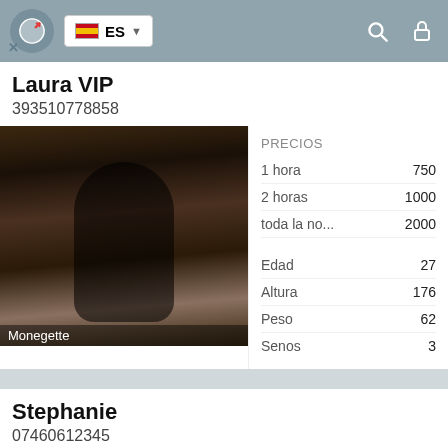ES (language selector, search and lock icons)
Laura VIP
393510778858
[Figure (photo): Woman in black dress seated on chair, dark background. Watermark: Monegette]
|  |  |
| --- | --- |
| PRECIOS |  |
| 1 hora | 750 |
| 2 horas | 1000 |
| toda la no... | 2000 |
|  |  |
| Edad | 27 |
| Altura | 176 |
| Peso | 62 |
| Senos | 3 |
Stephanie
07460612345
[Figure (photo): Partial view of woman, bottom of page cut off]
PRECIOS